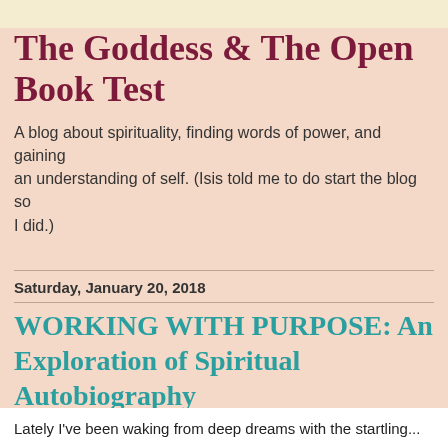The Goddess & The Open Book Test
A blog about spirituality, finding words of power, and gaining an understanding of self. (Isis told me to do start the blog so I did.)
Saturday, January 20, 2018
WORKING WITH PURPOSE: An Exploration of Spiritual Autobiography
Lately I've been waking from deep dreams with the startling...